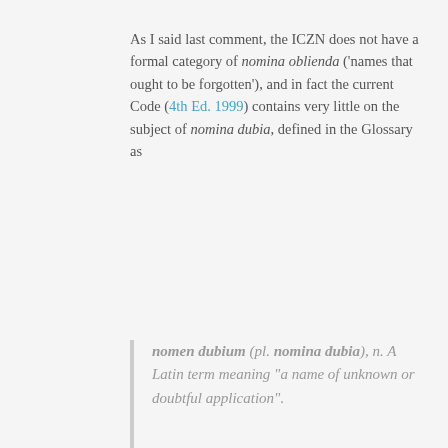As I said last comment, the ICZN does not have a formal category of nomina oblienda ('names that ought to be forgotten'), and in fact the current Code (4th Ed. 1999) contains very little on the subject of nomina dubia, defined in the Glossary as
nomen dubium (pl. nomina dubia), n. A Latin term meaning "a name of unknown or doubtful application".
It's clear from the Code that a nomen dubium is not an available name, but whether a proposed nomen is dubium is apparently (as far as I can tell) a subjective, taxonomic decision for subsequent revisers rather than following automatically from the original publication and the Code (which proclaims its intent to govern